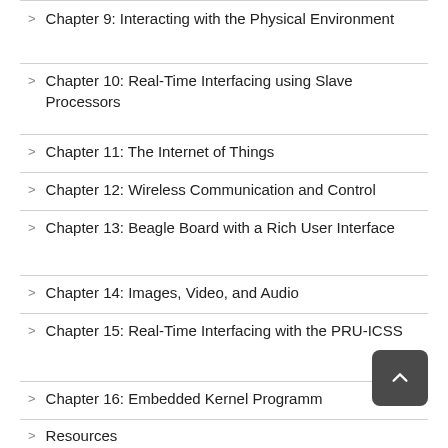Chapter 9: Interacting with the Physical Environment
Chapter 10: Real-Time Interfacing using Slave Processors
Chapter 11: The Internet of Things
Chapter 12: Wireless Communication and Control
Chapter 13: Beagle Board with a Rich User Interface
Chapter 14: Images, Video, and Audio
Chapter 15: Real-Time Interfacing with the PRU-ICSS
Chapter 16: Embedded Kernel Programming
Resources